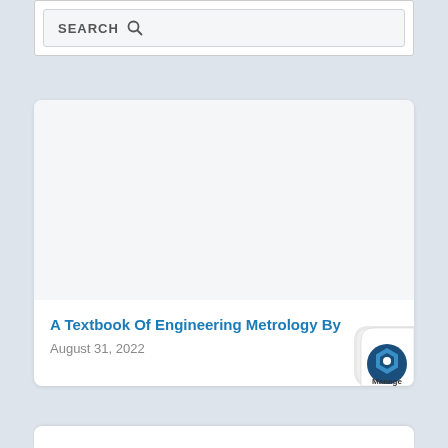[Figure (screenshot): Search bar with SEARCH text and magnifying glass icon on light grey background]
[Figure (screenshot): White card with blank image area at top, blue title text 'A Textbook Of Engineering Metrology By', date 'August 31, 2022', and a page-curl effect in the bottom-right corner showing a Manage badge with hexagonal icon]
A Textbook Of Engineering Metrology By
August 31, 2022